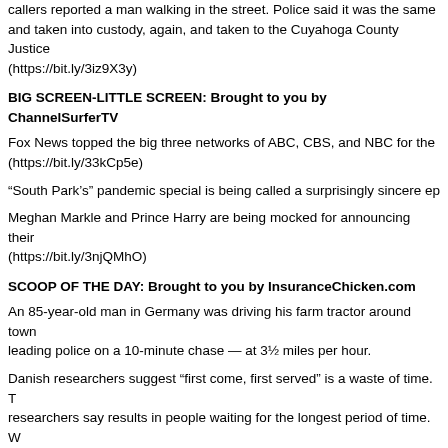callers reported a man walking in the street. Police said it was the same and taken into custody, again, and taken to the Cuyahoga County Justice (https://bit.ly/3iz9X3y)
BIG SCREEN-LITTLE SCREEN: Brought to you by ChannelSurferTV
Fox News topped the big three networks of ABC, CBS, and NBC for the (https://bit.ly/33kCp5e)
“South Park’s” pandemic special is being called a surprisingly sincere ep
Meghan Markle and Prince Harry are being mocked for announcing their (https://bit.ly/3njQMhO)
SCOOP OF THE DAY: Brought to you by InsuranceChicken.com
An 85-year-old man in Germany was driving his farm tractor around town leading police on a 10-minute chase — at 3½ miles per hour.
Danish researchers suggest “first come, first served” is a waste of time. T researchers say results in people waiting for the longest period of time. W more efficient. Researchers suggest that under this model, people are fo arrive last are served first, there is less of a bottleneck and thus less con queuing system was, “first come, first served” was seen to be the most fa this system in real life.
Thinking of giving your young child an allowance? Experts say ages 5-8 for every year of age. A 6-year-old would get $3 each week or month, de